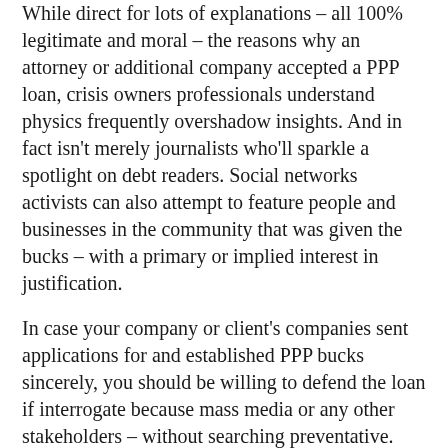While direct for lots of explanations – all 100% legitimate and moral – the reasons why an attorney or additional company accepted a PPP loan, crisis owners professionals understand physics frequently overshadow insights. And in fact isn't merely journalists who'll sparkle a spotlight on debt readers. Social networks activists can also attempt to feature people and businesses in the community that was given the bucks – with a primary or implied interest in justification.
In case your company or client's companies sent applications for and established PPP bucks sincerely, you should be willing to defend the loan if interrogate because mass media or any other stakeholders – without searching preventative.
As all of our good friend, Richard Levick, has said over and over repeatedly, “Use